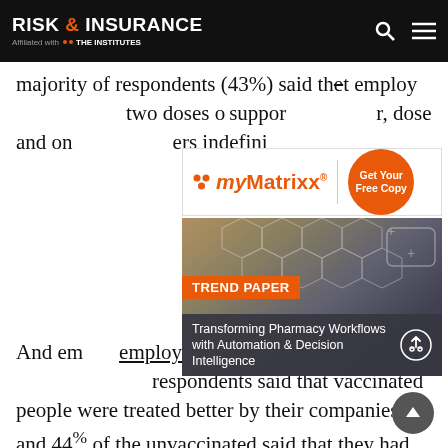RISK & INSURANCE | Affiliated with THE INSTITUTES
majority of respondents (43%) said that employees ... two doses of ... support ... dose and on ... ers indefinitely.
[Figure (infographic): myMatrixx advertisement with logo, Get Your Free Copy orange circle button, and Trend Paper ad for 'Transforming Pharmacy Workflows with Automation & Decision Intelligence']
And employees ... employers ... these policies ... respondents said that vaccinated people were treated better by their companies and 44% of the unvaccinated said that they had